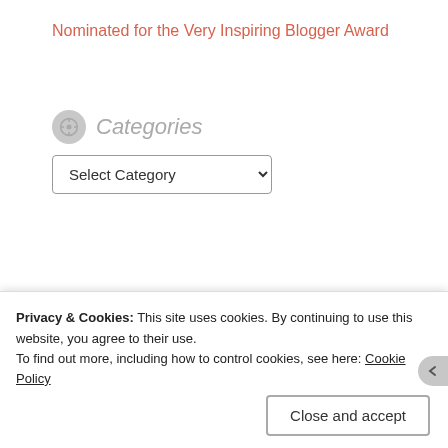Nominated for the Very Inspiring Blogger Award
Categories
[Figure (screenshot): Select Category dropdown widget]
Archives
[Figure (screenshot): Select Month dropdown widget]
[Figure (photo): Target advertisement banner with Target logo (red bullseye) and woman with dark hair looking down]
Privacy & Cookies: This site uses cookies. By continuing to use this website, you agree to their use.
To find out more, including how to control cookies, see here: Cookie Policy
Close and accept